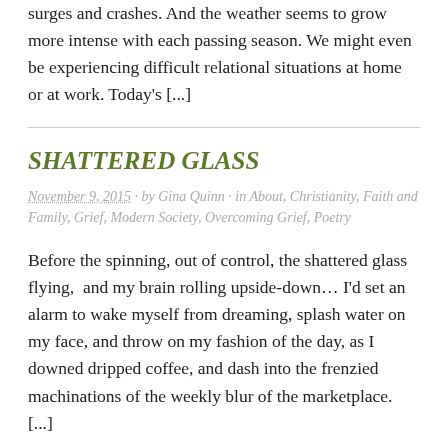surges and crashes. And the weather seems to grow more intense with each passing season. We might even be experiencing difficult relational situations at home or at work. Today's [...]
SHATTERED GLASS
November 9, 2015 · by Gina Quinn · in About, Christianity, Faith and Family, Grief, Modern Society, Overcoming Grief, Poetry
Before the spinning, out of control, the shattered glass flying,  and my brain rolling upside-down… I'd set an alarm to wake myself from dreaming, splash water on my face, and throw on my fashion of the day, as I downed dripped coffee, and dash into the frenzied machinations of the weekly blur of the marketplace. [...]
CAT CAPERS